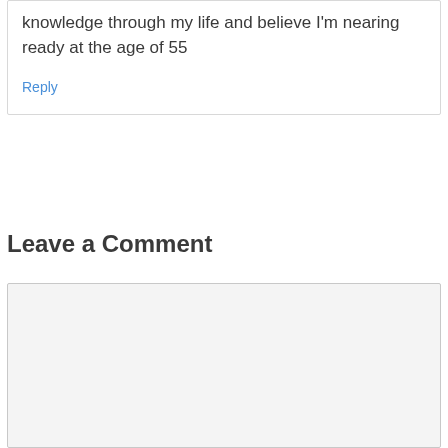knowledge through my life and believe I'm nearing ready at the age of 55
Reply
Leave a Comment